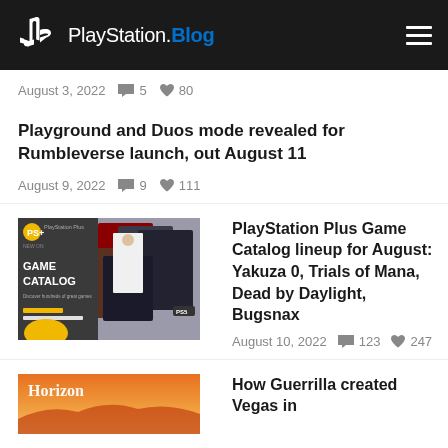PlayStation.Blog
August 3, 2022  💬 5  ♥ 80
Playground and Duos mode revealed for Rumbleverse launch, out August 11
August 9, 2022  💬 9  ♥ 111
[Figure (photo): PlayStation Plus Game Catalog promotional image showing Yakuza 0, Trials of Mana, Dead by Daylight, Bugsnax cover art]
PlayStation Plus Game Catalog lineup for August: Yakuza 0, Trials of Mana, Dead by Daylight, Bugsnax
August 10, 2022  💬 123  ♥ 247
[Figure (photo): Horizon game screenshot with orange/yellow sky background]
How Guerrilla created Vegas in